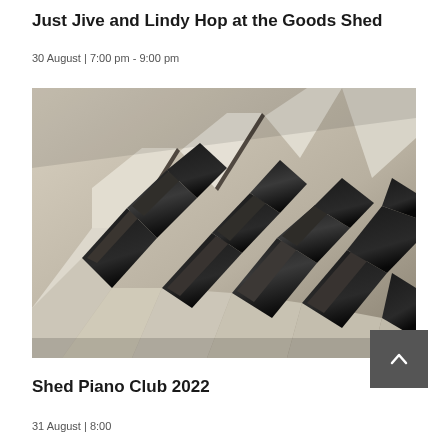Just Jive and Lindy Hop at the Goods Shed
30 August | 7:00 pm - 9:00 pm
[Figure (photo): Close-up photograph of piano keys in black and white, shot at an angle showing black keys in foreground and white keys below]
Shed Piano Club 2022
31 August | 8:00